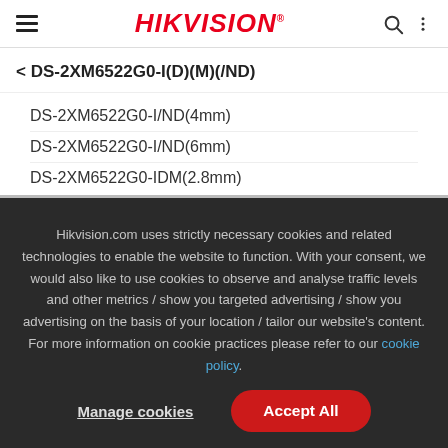HIKVISION
< DS-2XM6522G0-I(D)(M)(/ND)
DS-2XM6522G0-I/ND(4mm)
DS-2XM6522G0-I/ND(6mm)
DS-2XM6522G0-IDM(2.8mm)
Hikvision.com uses strictly necessary cookies and related technologies to enable the website to function. With your consent, we would also like to use cookies to observe and analyse traffic levels and other metrics / show you targeted advertising / show you advertising on the basis of your location / tailor our website's content. For more information on cookie practices please refer to our cookie policy.
Manage cookies | Accept All